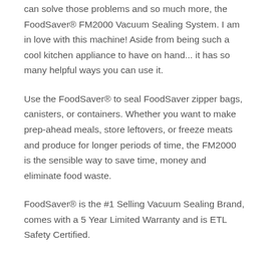can solve those problems and so much more, the FoodSaver® FM2000 Vacuum Sealing System. I am in love with this machine! Aside from being such a cool kitchen appliance to have on hand... it has so many helpful ways you can use it.
Use the FoodSaver® to seal FoodSaver zipper bags, canisters, or containers. Whether you want to make prep-ahead meals, store leftovers, or freeze meats and produce for longer periods of time, the FM2000 is the sensible way to save time, money and eliminate food waste.
FoodSaver® is the #1 Selling Vacuum Sealing Brand, comes with a 5 Year Limited Warranty and is ETL Safety Certified.